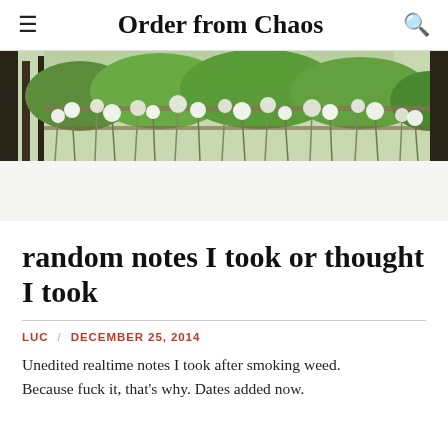Order from Chaos
[Figure (photo): Outdoor photo of white wildflowers (dandelion-like seed heads) in a field with wooden fence and green foliage in the background]
random notes I took or thought I took
LUC / DECEMBER 25, 2014
Unedited realtime notes I took after smoking weed. Because fuck it, that's why. Dates added now.